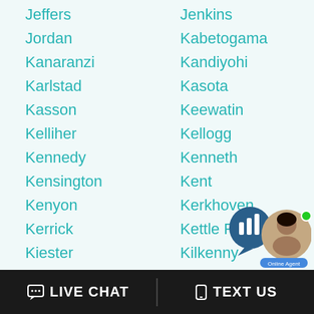Jeffers
Jenkins
Jordan
Kabetogama
Kanaranzi
Kandiyohi
Karlstad
Kasota
Kasson
Keewatin
Kelliher
Kellogg
Kennedy
Kenneth
Kensington
Kent
Kenyon
Kerkhoven
Kerrick
Kettle River
Kiester
Kilkenny
Kimball
Kinney
LIVE CHAT   TEXT US